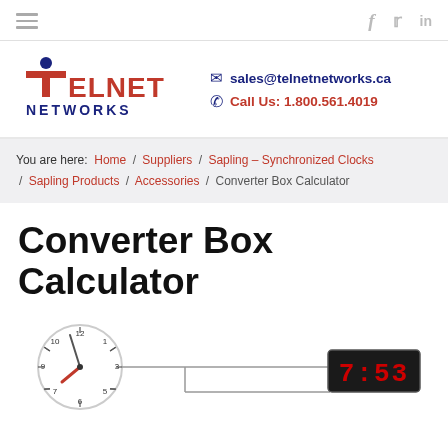Navigation bar with hamburger menu and social icons (Facebook, Twitter, LinkedIn)
[Figure (logo): Telnet Networks logo — bold red 'TELNET' lettering with blue dot above 'i' and blue 'NETWORKS' below]
sales@telnetnetworks.ca
Call Us: 1.800.561.4019
You are here: Home / Suppliers / Sapling - Synchronized Clocks / Sapling Products / Accessories / Converter Box Calculator
Converter Box Calculator
[Figure (illustration): Diagram showing an analog clock face reading approximately 7:53 connected via a line to a red LED digital display showing '7:53']